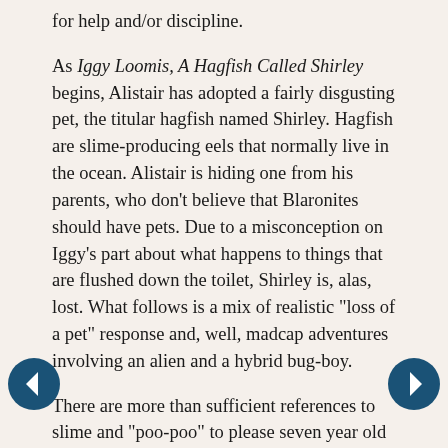for help and/or discipline.
As Iggy Loomis, A Hagfish Called Shirley begins, Alistair has adopted a fairly disgusting pet, the titular hagfish named Shirley. Hagfish are slime-producing eels that normally live in the ocean. Alistair is hiding one from his parents, who don't believe that Blaronites should have pets. Due to a misconception on Iggy's part about what happens to things that are flushed down the toilet, Shirley is, alas, lost. What follows is a mix of realistic "loss of a pet" response and, well, madcap adventures involving an alien and a hybrid bug-boy.
There are more than sufficient references to slime and "poo-poo" to please seven year old readers. Parents should be forewarned, however, that there is an attempt to use a